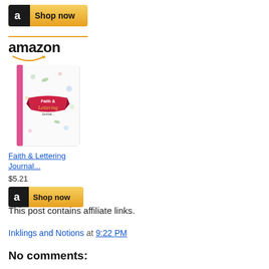[Figure (other): Amazon 'Shop now' button with black 'a' icon on gold/yellow background]
[Figure (other): Amazon product widget showing Amazon logo with smile, book cover image for 'Faith & Lettering Journal...', price $5.21, and Shop now button]
This post contains affiliate links.
Inklings and Notions at 9:22 PM
No comments: